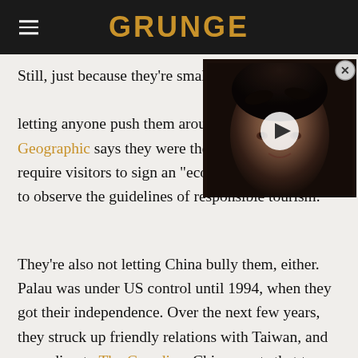GRUNGE
[Figure (photo): Video overlay thumbnail showing a dark-haired woman with a play button icon, with a close (X) button in the top right corner.]
Still, just because they're small doesn't mean they're letting anyone push them around. National Geographic says they were the first nation to require visitors to sign an "eco-pledge," promising to observe the guidelines of responsible tourism.
They're also not letting China bully them, either. Palau was under US control until 1994, when they got their independence. Over the next few years, they struck up friendly relations with Taiwan, and according to The Guardian, China wants that to end. They've even gone as